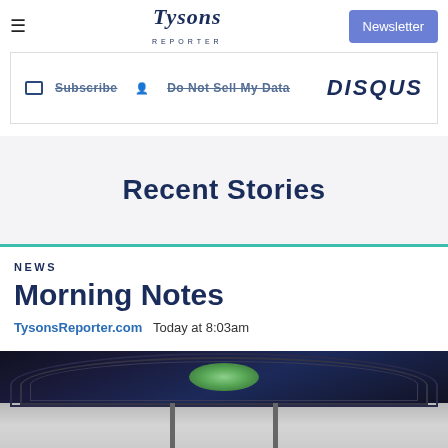Tysons Reporter — Newsletter button
[Figure (screenshot): Disqus comment embed bar showing Subscribe and Do Not Sell My Data links, and Disqus logo]
Recent Stories
NEWS
Morning Notes
TysonsReporter.com   Today at 8:03am
[Figure (photo): View through a dark arched tunnel opening onto green foliage, with a grey road or path at the bottom]